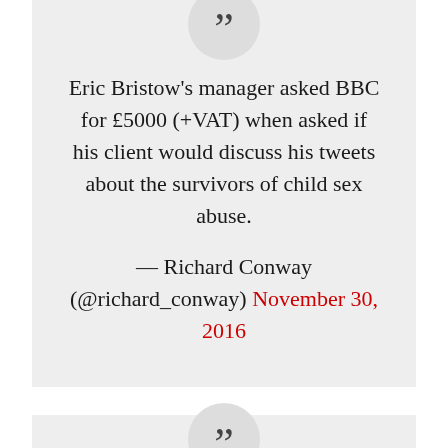[Figure (illustration): Large quotation mark icon in a light gray circle, partially cropped at top]
Eric Bristow's manager asked BBC for £5000 (+VAT) when asked if his client would discuss his tweets about the survivors of child sex abuse.
— Richard Conway (@richard_conway) November 30, 2016
[Figure (illustration): Large quotation mark icon in a light gray circle at the top of the second quote block]
It was a very courageous thing those